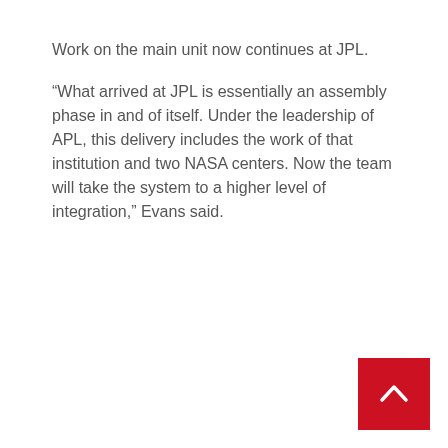Work on the main unit now continues at JPL.
“What arrived at JPL is essentially an assembly phase in and of itself. Under the leadership of APL, this delivery includes the work of that institution and two NASA centers. Now the team will take the system to a higher level of integration,” Evans said.
[Figure (other): Red square button with a white upward-pointing chevron arrow, functioning as a back-to-top navigation button, positioned in the bottom-right corner of the page.]